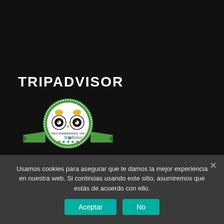TRIPADVISOR
[Figure (logo): TripAdvisor 'Recommended On' badge: green circular badge with owl icon, text 'RECOMMENDED ON tripadvisor' and five green stars, with green ribbon banner below]
Usamos cookies para asegurar que te damos la mejor experiencia en nuestra web. Si continúas usando este sitio, asumiremos que estás de acuerdo con ello.
Aceptar   No